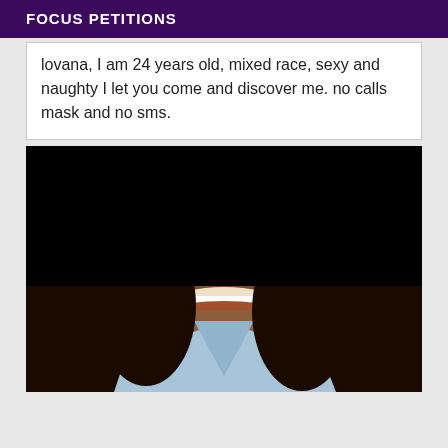FOCUS PETITIONS
lovana, I am 24 years old, mixed race, sexy and naughty I let you come and discover me. no calls mask and no sms.
[Figure (photo): Photo of a woman smiling, wearing hoop earrings and a light blue halter top. Upper portion of face is obscured by a black block redaction.]